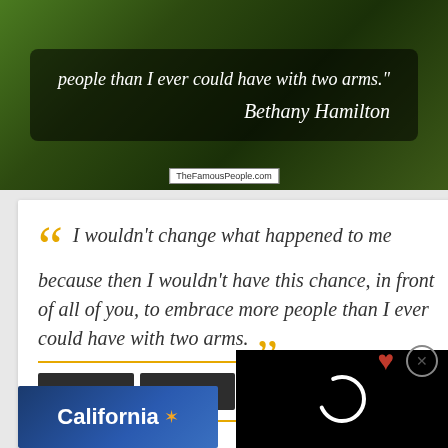[Figure (photo): Dark green nature background with a quote overlay box. Quote text reads: 'people than I ever could have with two arms.' attributed to Bethany Hamilton. TheFamousPeople.com watermark visible.]
I wouldn't change what happened to me because then I wouldn't have this chance, in front of all of you, to embrace more people than I ever could have with two arms.
You
Me
Change
I
Bethany Hamilton
[Figure (screenshot): California logo with text 'California' and a sunflower/star emblem on a blue background. Partial view.]
[Figure (screenshot): Black overlay with a white loading spinner circle, partially overlapping the California logo.]